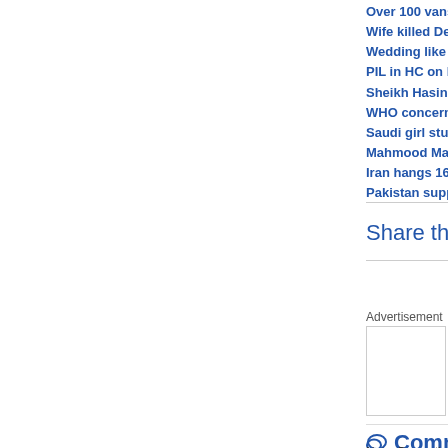Over 100 vans to sell cheap onions from Monday: D...
Wife killed Delhi official: Post-mortem report
Wedding like atmosphere in Haryana village as Tend...
PIL in HC on beating of Muslims by Gujarat Police, ...
Sheikh Hasina, Khaleda Zia hold talks to end politic...
WHO concerned over deteriorating health condition...
Saudi girl students campaign for polygamy to count...
Mahmood Madani dances on tunes of Modi, says m...
Iran hangs 16 people in response to border attack
Pakistan supports Saudi Arabia rejection of UN seat...
Share this page
Advertisement
Comments
Note: By posting your comments here you agree to the terms and...